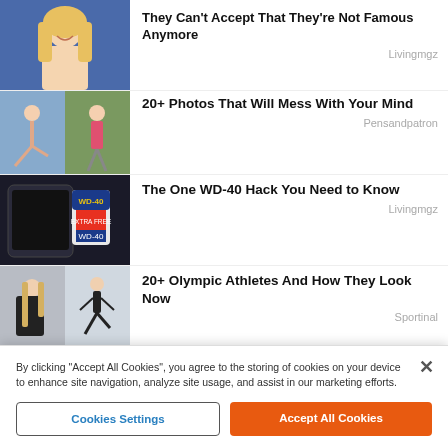[Figure (photo): Blonde woman smiling against blue background]
They Can't Accept That They're Not Famous Anymore
Livingmgz
[Figure (photo): Two women doing yoga/fitness poses]
20+ Photos That Will Mess With Your Mind
Pensandpatron
[Figure (photo): WD-40 can next to a phone]
The One WD-40 Hack You Need to Know
Livingmgz
[Figure (photo): Blonde woman and athlete running]
20+ Olympic Athletes And How They Look Now
Sportinal
[Figure (photo): Man wearing cowboy hat]
You Won't Believe Who The No.1 Star Of the 70s Is
By clicking "Accept All Cookies", you agree to the storing of cookies on your device to enhance site navigation, analyze site usage, and assist in our marketing efforts.
Cookies Settings
Accept All Cookies